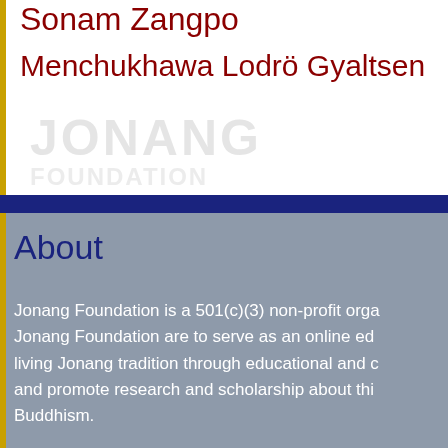Sonam Zangpo
Menchukhawa Lodrö Gyaltsen
[Figure (other): Faded watermark-style background image of Tibetan figures or text, appearing as a light gray impression behind the title section]
About
Jonang Foundation is a 501(c)(3) non-profit orga... Jonang Foundation are to serve as an online ed... living Jonang tradition through educational and c... and promote research and scholarship about thi... Buddhism.